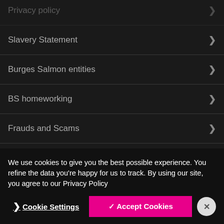Privacy policy
Slavery Statement
Burges Salmon entities
BS homeworking
Frauds and Scams
We use cookies to give you the best possible experience. You refine the data you're happy for us to track. By using our site, you agree to our Privacy Policy
Cookie Settings | Accept Cookies